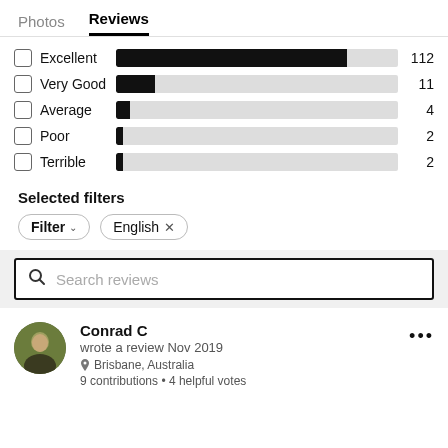Photos  Reviews
[Figure (bar-chart): Review ratings distribution]
Selected filters
Filter ∨   English ×
Search reviews
Conrad C
wrote a review Nov 2019
Brisbane, Australia
9 contributions • 4 helpful votes